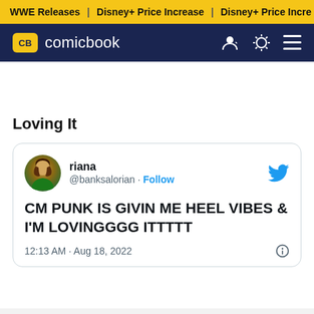WWE Releases | Disney+ Price Increase | Disney+ Price Increase
[Figure (logo): ComicBook.com logo with CB badge in gold on dark navy navigation bar]
Loving It
riana @banksalorian · Follow
CM PUNK IS GIVIN ME HEEL VIBES & I'M LOVINGGGG ITTTTT
12:13 AM · Aug 18, 2022